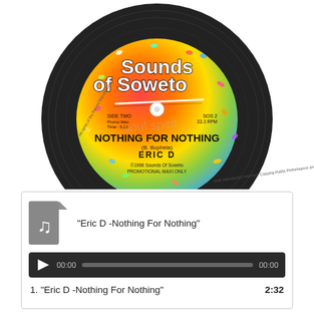[Figure (photo): A vinyl record label for 'Sounds of Soweto'. The label is colorful (red, yellow, green gradient with confetti dots). It reads: SIDE TWO, Promo Max, Time: 5:22, SOS 2, 33.3 RPM, NOTHING FOR NOTHING, (B. Bophela), ERIC D, (C)1988 Sounds Of Soweto, PROMOTIONAL MAXI ONLY. There is a watermark reading 'soul spirit'. Text around the edge: 'All rights of the Record Manufacturer and of the owner of the work reproduced reserved. Copying Public Performance and Broadcasting of this record prohibited.']
[Figure (screenshot): An audio player widget with a music file icon (gray document with music note), track title 'Eric D -Nothing For Nothing', play button, time display 00:00 on both sides of a progress bar, and a track listing: 1. 'Eric D -Nothing For Nothing' with duration 2:32.]
"Eric D -Nothing For Nothing"
1. "Eric D -Nothing For Nothing"   2:32